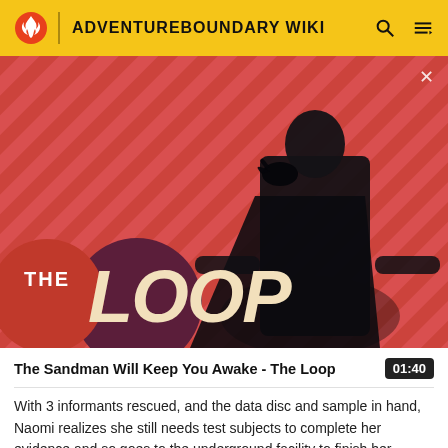ADVENTUREBOUNDARY WIKI
[Figure (screenshot): Hero promotional image for 'The Loop' showing a dark-clothed figure with a raven on their shoulder against a red diagonal-striped background. 'THE LOOP' branding in large text at bottom left.]
The Sandman Will Keep You Awake - The Loop
With 3 informants rescued, and the data disc and sample in hand, Naomi realizes she still needs test subjects to complete her evidence and so goes to the underground facility to finish her mission.